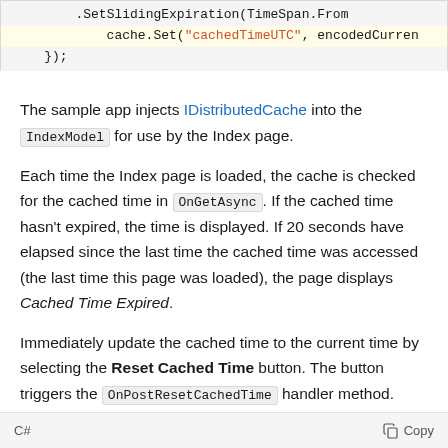[Figure (screenshot): Code block snippet showing .SetSlidingExpiration(TimeSpan.From... and cache.Set("cachedTimeUTC", encodedCurren... with }); on next line. The cache.Set line is highlighted in yellow.]
The sample app injects IDistributedCache into the IndexModel for use by the Index page.
Each time the Index page is loaded, the cache is checked for the cached time in OnGetAsync. If the cached time hasn't expired, the time is displayed. If 20 seconds have elapsed since the last time the cached time was accessed (the last time this page was loaded), the page displays Cached Time Expired.
Immediately update the cached time to the current time by selecting the Reset Cached Time button. The button triggers the OnPostResetCachedTime handler method.
[Figure (screenshot): Bottom bar of a code block showing 'C#' language label on the left and a Copy button with icon on the right.]